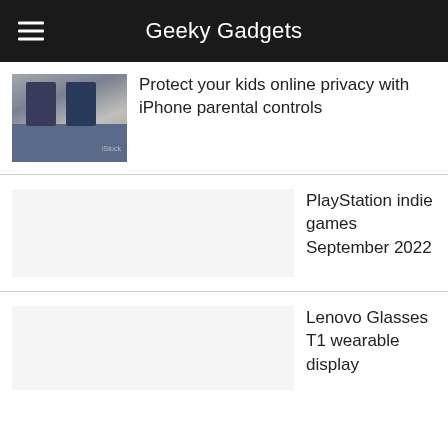Geeky Gadgets
Protect your kids online privacy with iPhone parental controls
PlayStation indie games September 2022
Lenovo Glasses T1 wearable display